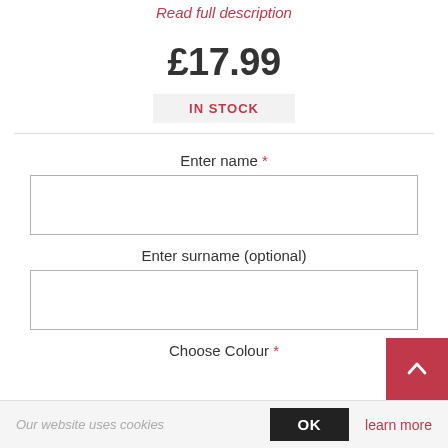Read full description
£17.99
IN STOCK
Enter name *
Enter surname (optional)
Choose Colour *
Our website uses cookies  OK  learn more